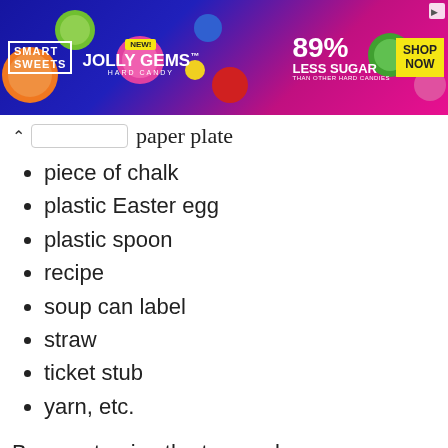[Figure (other): SmartSweets Jolly Gems Hard Candy advertisement banner with colorful candy images, '89% Less Sugar than other hard candies' text, and 'Shop Now' button]
paper plate
piece of chalk
plastic Easter egg
plastic spoon
recipe
soup can label
straw
ticket stub
yarn, etc.
Be sure to give the team a bag or something to put all these goodies in!
OR…